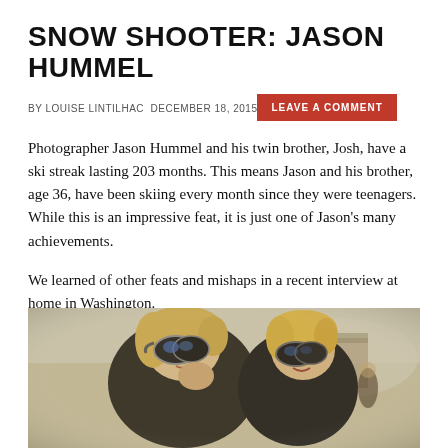SNOW SHOOTER: JASON HUMMEL
BY LOUISE LINTILHAC DECEMBER 18, 2015
LEAVE A COMMENT
Photographer Jason Hummel and his twin brother, Josh, have a ski streak lasting 203 months. This means Jason and his brother, age 36, have been skiing every month since they were teenagers. While this is an impressive feat, it is just one of Jason's many achievements.
We learned of other feats and mishaps in a recent interview at home in Washington.
[Figure (photo): Vintage photograph of two young children wearing ski goggles, bundled in dark winter gear, outdoors in a snowy mountain setting with a building visible in the background.]